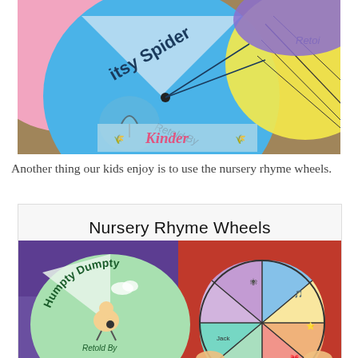[Figure (photo): Photo of colorful nursery rhyme wheels craft projects including a blue 'Itsy Bitsy Spider' wheel with umbrella illustration and 'Retold By' text, and yellow wheel, arranged on a wooden surface. A 'Kinder' watermark logo is visible at center bottom.]
Another thing our kids enjoy is to use the nursery rhyme wheels.
[Figure (photo): Educational product card titled 'Nursery Rhyme Wheels' showing a photo of a 'Humpty Dumpty' wheel (green, with Humpty Dumpty illustration and 'Retold By' text) and a colorful multi-section spinning wheel held by children's hands, on a purple and red background.]